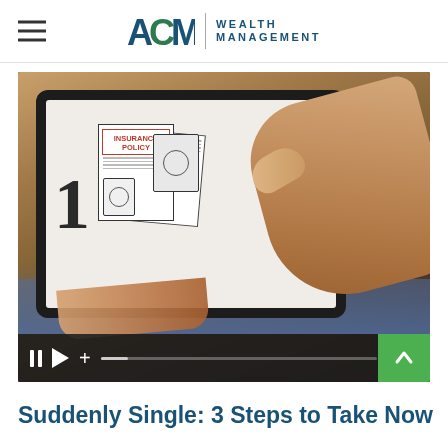ACM Wealth Management
[Figure (screenshot): Video thumbnail showing a person holding a tablet with a sketch animation of insurance policy documents and a number 1. Video controls bar shows pause, play, plus buttons, a progress bar, and timestamp 1:18. A green scroll-up button is visible in the bottom-right corner.]
Suddenly Single: 3 Steps to Take Now